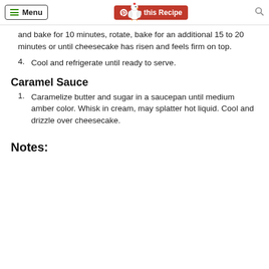Menu | Pin this Recipe
and bake for 10 minutes, rotate, bake for an additional 15 to 20 minutes or until cheesecake has risen and feels firm on top.
4. Cool and refrigerate until ready to serve.
Caramel Sauce
1. Caramelize butter and sugar in a saucepan until medium amber color. Whisk in cream, may splatter hot liquid. Cool and drizzle over cheesecake.
Notes: